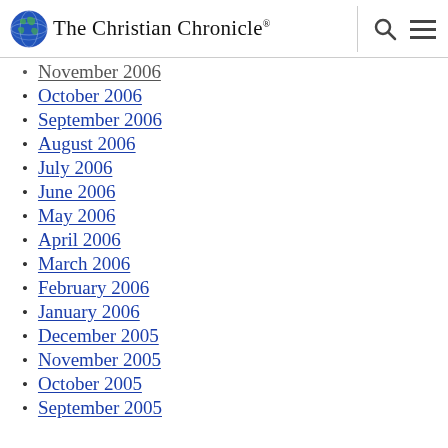The Christian Chronicle
November 2006
October 2006
September 2006
August 2006
July 2006
June 2006
May 2006
April 2006
March 2006
February 2006
January 2006
December 2005
November 2005
October 2005
September 2005